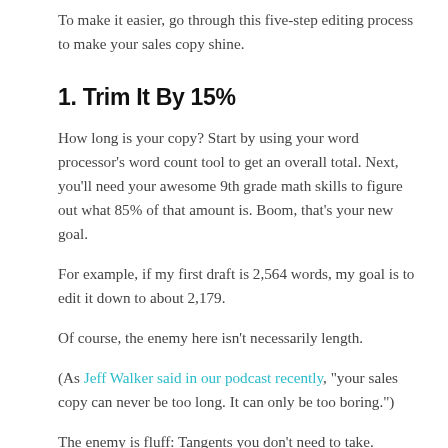To make it easier, go through this five-step editing process to make your sales copy shine.
1. Trim It By 15%
How long is your copy? Start by using your word processor's word count tool to get an overall total. Next, you'll need your awesome 9th grade math skills to figure out what 85% of that amount is. Boom, that's your new goal.
For example, if my first draft is 2,564 words, my goal is to edit it down to about 2,179.
Of course, the enemy here isn't necessarily length.
(As Jeff Walker said in our podcast recently, "your sales copy can never be too long. It can only be too boring.")
The enemy is fluff: Tangents you don't need to take. Features you